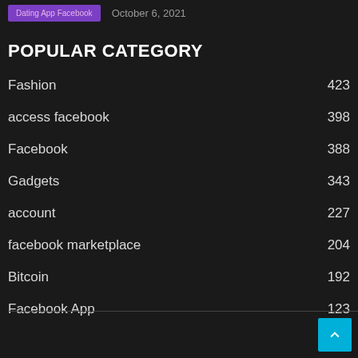Dating App Facebook | October 6, 2021
POPULAR CATEGORY
Fashion 423
access facebook 398
Facebook 388
Gadgets 343
account 227
facebook marketplace 204
Bitcoin 192
Facebook App 123